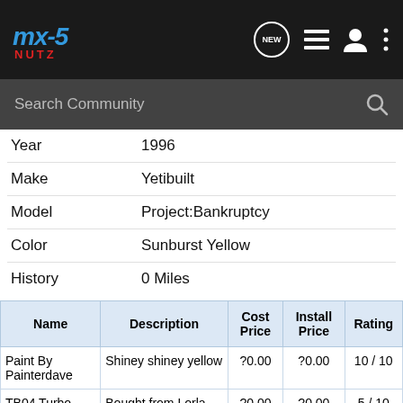MX-5 Nutz — Navigation bar with logo, NEW button, list icon, user icon, menu icon
Search Community
|  | Year | 1996 |
| --- | --- | --- |
| Make | Yetibuilt |  |
| Model | Project:Bankruptcy |  |
| Color | Sunburst Yellow |  |
| History | 0 Miles |  |
| Name | Description | Cost Price | Install Price | Rating |
| --- | --- | --- | --- | --- |
| Paint By Painterdave | Shiney shiney yellow | ?0.00 | ?0.00 | 10 / 10 |
| TB04 Turbo | Bought from Lorla... | ?0.00 | ?0.00 | 5 / 10 |